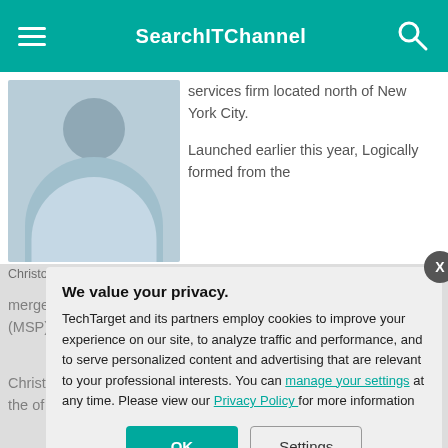SearchITChannel
[Figure (photo): Headshot photo of Christopher Claudio, a man in a light blue shirt against a grey background]
Christopher Claudio
services firm located north of New York City.
Launched earlier this year, Logically formed from the merger of Winxnet, an outsourcing firm, and Valiant Solutions, a San-based managed service provider (MSP).
Christopher Claudio, in a 2019 interview that additional acquisitions deal is the of those three acquisitions.
Sullivan Data Ma
We value your privacy.
TechTarget and its partners employ cookies to improve your experience on our site, to analyze traffic and performance, and to serve personalized content and advertising that are relevant to your professional interests. You can manage your settings at any time. Please view our Privacy Policy for more information